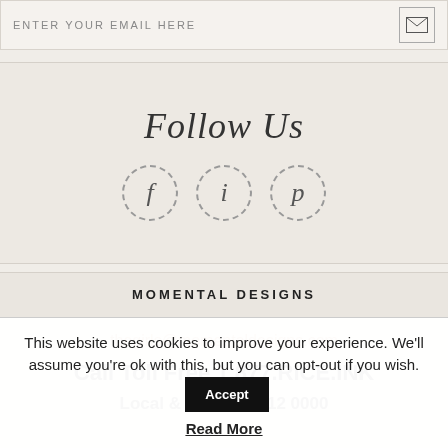ENTER YOUR EMAIL HERE
[Figure (illustration): Email icon — envelope symbol in a bordered box]
Follow Us
[Figure (illustration): Three circular dashed-border social media icons with cursive letters f, i, p]
MOMENTAL DESIGNS
thegirls@momentaldesigns.com
Call Toll Free 1.877.RICE.INK
Local & call: 570 712 0000
This website uses cookies to improve your experience. We'll assume you're ok with this, but you can opt-out if you wish.
Accept
Read More